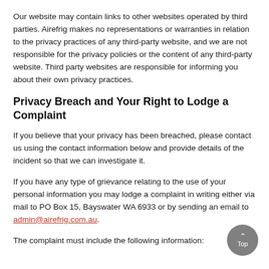Our website may contain links to other websites operated by third parties. Airefrig makes no representations or warranties in relation to the privacy practices of any third-party website, and we are not responsible for the privacy policies or the content of any third-party website. Third party websites are responsible for informing you about their own privacy practices.
Privacy Breach and Your Right to Lodge a Complaint
If you believe that your privacy has been breached, please contact us using the contact information below and provide details of the incident so that we can investigate it.
If you have any type of grievance relating to the use of your personal information you may lodge a complaint in writing either via mail to PO Box 15, Bayswater WA 6933 or by sending an email to admin@airefrig.com.au.
The complaint must include the following information: